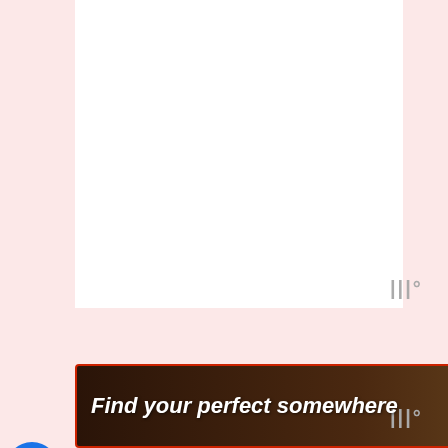[Figure (screenshot): White content area / article card at top of page on pink background]
[Figure (illustration): Grey watermark text 'WWW degree' symbol at right side, appears twice on page]
[Figure (infographic): Blue circular like/heart button, count of 2, and share icon on left sidebar]
2
[Figure (infographic): WHAT'S NEXT card showing '11 Essential Tips You Ne...' with thumbnail image]
WHAT'S NEXT → 11 Essential Tips You Ne...
[Figure (screenshot): Advertisement banner: 'Find your perfect somewhere' with dark background image, play/close controls and hotel icon]